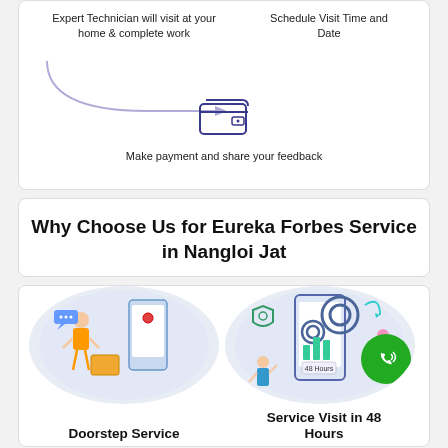Expert Technician will visit at your home & complete work
Schedule Visit Time and Date
[Figure (illustration): Wallet icon with arrow flow diagram]
Make payment and share your feedback
Why Choose Us for Eureka Forbes Service in Nangloi Jat
[Figure (illustration): Doorstep service illustration with delivery person and mobile app]
Doorstep Service
[Figure (illustration): Service visit in 48 hours illustration with gears and technician]
Service Visit in 48 Hours